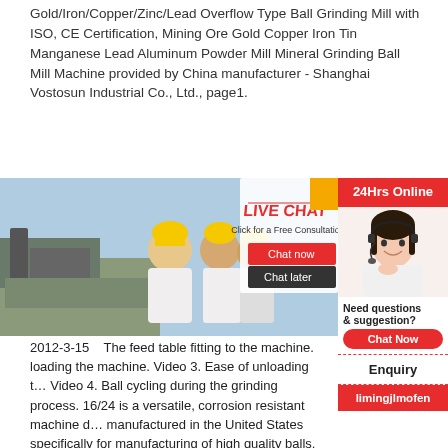Gold/Iron/Copper/Zinc/Lead Overflow Type Ball Grinding Mill with ISO, CE Certification, Mining Ore Gold Copper Iron Tin Manganese Lead Aluminum Powder Mill Mineral Grinding Ball Mill Machine provided by China manufacturer - Shanghai Vostosun Industrial Co., Ltd., page1.
[Figure (photo): Photo of workers in yellow hard hats at a mining/industrial site with machinery, with a live chat overlay popup showing 'LIVE CHAT - Click for a Free Consultation' with 'Chat now' and 'Chat later' buttons, and a customer service representative with headset on the right side panel showing '24Hrs Online', 'Need questions & suggestion?', 'Chat Now', 'Enquiry', 'limingjlmofen']
2012-3-15    The feed table fitting to the machine. loading the machine. Video 3. Ease of unloading t… Video 4. Ball cycling during the grinding process. 16/24 is a versatile, corrosion resistant machine d… manufactured in the United States specifically for manufacturing of high quality balls.